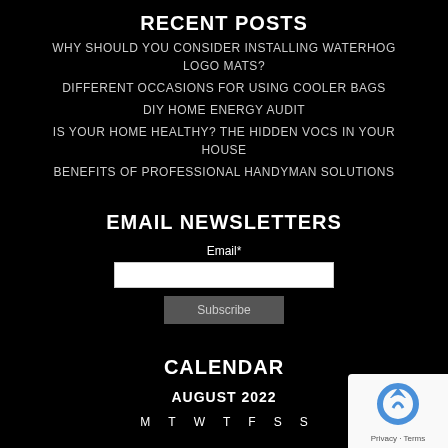RECENT POSTS
WHY SHOULD YOU CONSIDER INSTALLING WATERHOG LOGO MATS?
DIFFERENT OCCASIONS FOR USING COOLER BAGS
DIY HOME ENERGY AUDIT
IS YOUR HOME HEALTHY? THE HIDDEN VOCS IN YOUR HOUSE
BENEFITS OF PROFESSIONAL HANDYMAN SOLUTIONS
EMAIL NEWSLETTERS
Email*
CALENDAR
AUGUST 2022
M  T  W  T  F  S  S